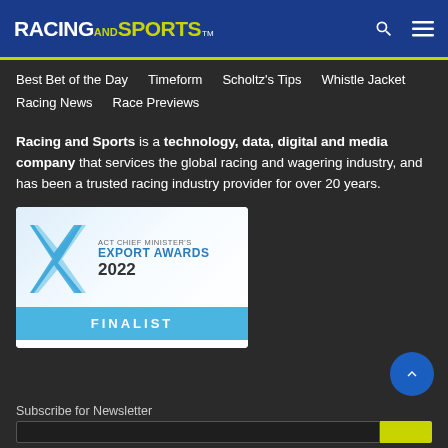RACING AND SPORTS
Best Bet of the Day
Timeform
Scholtz's Tips
Whistle Jacket
Racing News
Race Previews
Racing and Sports is a technology, data, digital and media company that services the global racing and wagering industry, and has been a trusted racing industry provider for over 20 years.
[Figure (logo): ACT Chief Minister's Export Awards 2022 - FINALIST badge/logo]
Subscribe for Newsletter